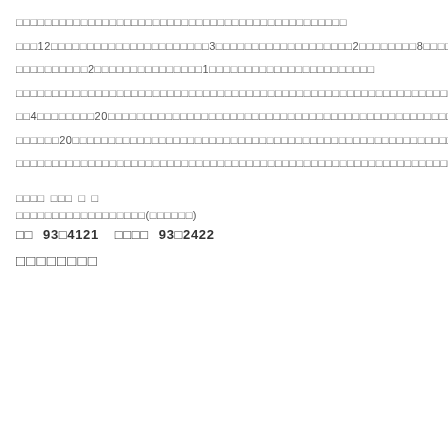□□□□□□□□□□□□□□□□□□□□□□□□□□□□□□□□□□□□□□□□□□□□□□
□□□12□□□□□□□□□□□□□□□□□□□□□□3□□□□□□□□□□□□□□□□□□□2□□□□□□□□8□□□□□□□□□□□□□□□□□□□□□□
□□□□□□□□□□2□□□□□□□□□□□□□□□1□□□□□□□□□□□□□□□□□□□□□□□
□□□□□□□□□□□□□□□□□□□□□□□□□□□□□□□□□□□□□□□□□□□□□□□□□□□□□□□□□□□□□□□□□□□□□□□□□□□□□□□□□□□□
□□4□□□□□□□□20□□□□□□□□□□□□□□□□□□□□□□□□□□□□□□□□□□□□□□□□□□□□□□□□□□□□□□□□□□□□□□□□□□□□□□
□□□□□□20□□□□□□□□□□□□□□□□□□□□□□□□□□□□□□□□□□□□□□□□□□□□□□□□□□□□□□□□□□□
□□□□□□□□□□□□□□□□□□□□□□□□□□□□□□□□□□□□□□□□□□□□□□□□□□□□□□□□□□□□□□□□□□□□□□□□□□□□□□□□□□□□□□□□□□□□□□□□□□□
□□□□　□□□　□　□
□□□□□□□□□□□□□□□□□□(□□□□□□)
□□　93□4121　□□□□　93□2422
□□□□□□□□